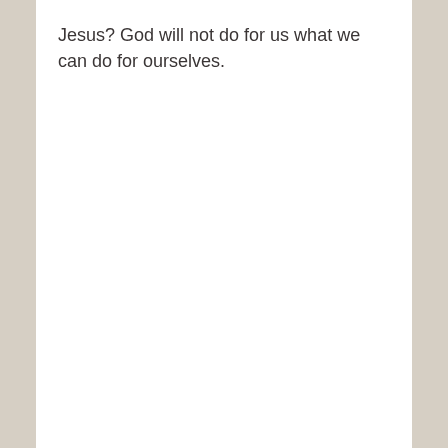Jesus? God will not do for us what we can do for ourselves.